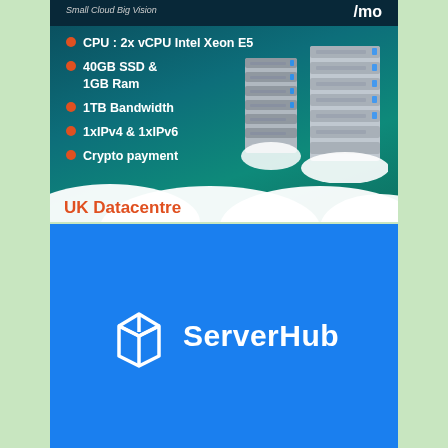[Figure (infographic): Dark teal server hosting advertisement banner showing server specs with orange bullet points, server rack images, cloud graphics, and 'UK Datacentre' label. Header shows 'Small Cloud Big Vision' and '/mo' pricing. Specs: CPU 2x vCPU Intel Xeon E5, 40GB SSD & 1GB Ram, 1TB Bandwidth, 1xIPv4 & 1xIPv6, Crypto payment.]
[Figure (logo): ServerHub logo on blue background. White open box/cube icon on the left and 'ServerHub' text in white on the right.]